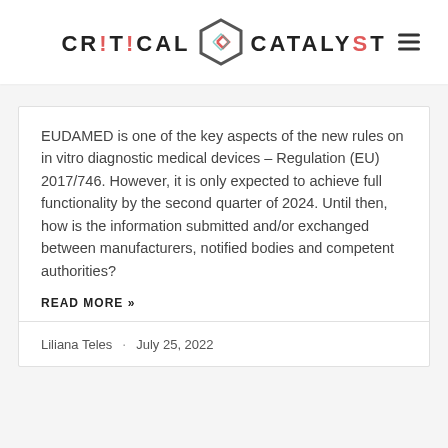CRITICAL CATALYST
EUDAMED is one of the key aspects of the new rules on in vitro diagnostic medical devices – Regulation (EU) 2017/746. However, it is only expected to achieve full functionality by the second quarter of 2024. Until then, how is the information submitted and/or exchanged between manufacturers, notified bodies and competent authorities?
READ MORE »
Liliana Teles · July 25, 2022